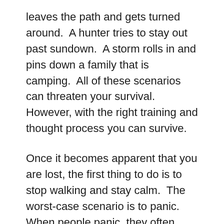leaves the path and gets turned around.  A hunter tries to stay out past sundown.  A storm rolls in and pins down a family that is camping.  All of these scenarios can threaten your survival.  However, with the right training and thought process you can survive.
Once it becomes apparent that you are lost, the first thing to do is to stop walking and stay calm.  The worst-case scenario is to panic.  When people panic, they often start trying to hike to safety with no idea where they are going.  This will typically move them further into the wilderness and away from safety.  Stop where you are and evaluate your situation.  Often your best bet is to stay where you are and wait for help.  This is assuming that